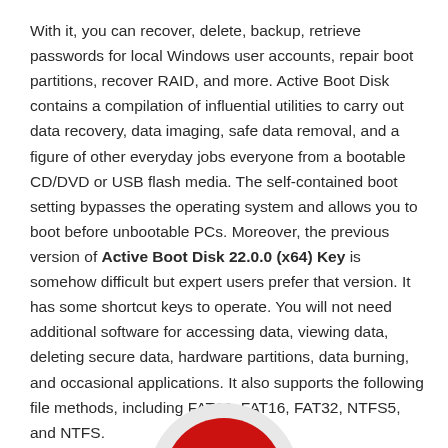With it, you can recover, delete, backup, retrieve passwords for local Windows user accounts, repair boot partitions, recover RAID, and more. Active Boot Disk contains a compilation of influential utilities to carry out data recovery, data imaging, safe data removal, and a figure of other everyday jobs everyone from a bootable CD/DVD or USB flash media. The self-contained boot setting bypasses the operating system and allows you to boot before unbootable PCs. Moreover, the previous version of Active Boot Disk 22.0.0 (x64) Key is somehow difficult but expert users prefer that version. It has some shortcut keys to operate. You will not need additional software for accessing data, viewing data, deleting secure data, hardware partitions, data burning, and occasional applications. It also supports the following file methods, including FAT12, FAT16, FAT32, NTFS5, and NTFS.
[Figure (illustration): Partial view of a circular red and white logo/disc at the bottom center of the page, cropped at the page edge.]